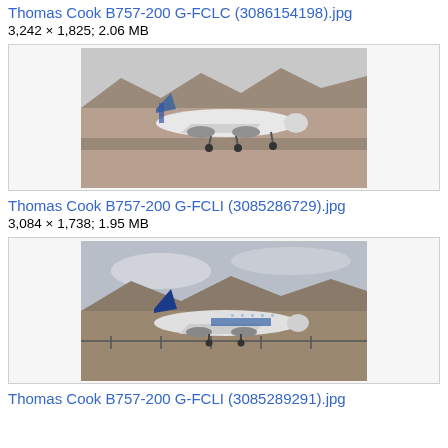Thomas Cook B757-200 G-FCLC (3086154198).jpg
3,242 × 1,825; 2.06 MB
[Figure (photo): Thomas Cook B757-200 aircraft G-FCLC on approach, landing gear down, desert/arid landscape runway in background]
Thomas Cook B757-200 G-FCLI (3085286729).jpg
3,084 × 1,738; 1.95 MB
[Figure (photo): Thomas Cook B757-200 aircraft G-FCLI on ground at airport, desert/mountainous landscape in background]
Thomas Cook B757-200 G-FCLI (3085289291).jpg